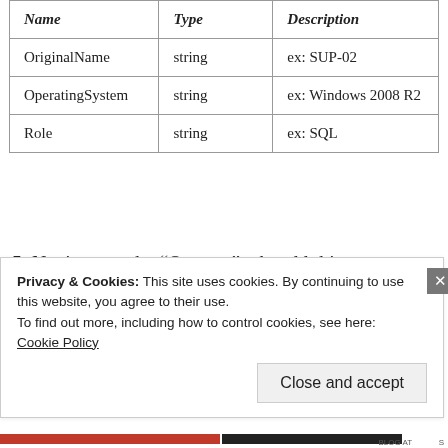| Name | Type | Description |
| --- | --- | --- |
| OriginalName | string | ex: SUP-02 |
| OperatingSystem | string | ex: Windows 2008 R2 |
| Role | string | ex: SQL |
5. Navigate to the “Outputs” tab, add this Parameter:
Privacy & Cookies: This site uses cookies. By continuing to use this website, you agree to their use.
To find out more, including how to control cookies, see here: Cookie Policy